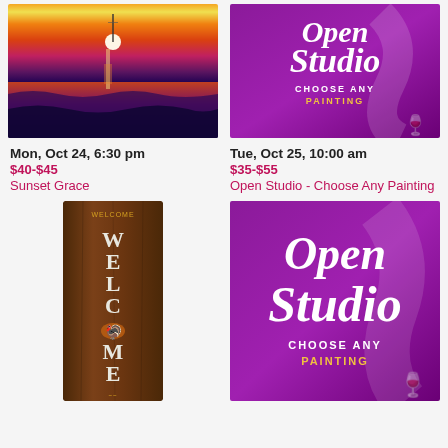[Figure (photo): Sunset painting showing orange and yellow sky with sun reflection over water with dark blue waves]
[Figure (photo): Open Studio promotional image on purple background with wine glass icon, text: Open Studio, CHOOSE ANY PAINTING]
Mon, Oct 24, 6:30 pm
$40-$45
Sunset Grace
Tue, Oct 25, 10:00 am
$35-$55
Open Studio - Choose Any Painting
[Figure (photo): Tall wooden welcome sign painted vertically spelling WELCOME with turkey decoration]
[Figure (photo): Open Studio promotional image on purple background with wine glass icon, text: Open Studio, CHOOSE ANY PAINTING]